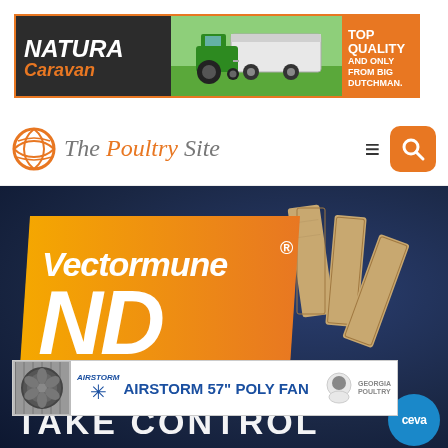[Figure (infographic): NATURA Caravan advertisement banner. Left dark section shows 'NATURA Caravan' text in white/orange italic bold. Center shows a green field with tractor/trailer. Right orange section reads 'TOP QUALITY AND ONLY FROM BIG DUTCHMAN.' in white bold text.]
[Figure (logo): The Poultry Site logo with orange globe icon, the text 'The Poultry Site' where 'Poultry' is in orange and italic. Navigation hamburger menu and orange search button on the right.]
[Figure (infographic): Vectormune ND advertisement on dark navy background. Large orange/yellow diagonal badge with 'Vectormune® ND' in white bold italic text. Wooden domino pieces visible on right side.]
[Figure (infographic): AirStorm 57 inch Poly Fan advertisement banner. Shows fan image on left, AirStorm logo with snowflake, text 'AIRSTORM 57" POLY FAN' in blue bold, Georgia Poultry logo. 'TAKE CONTROL' text visible below.]